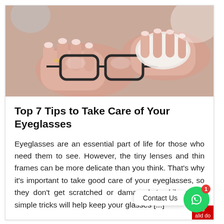[Figure (photo): Hands cleaning eyeglasses with a white cloth, close-up photo with soft background]
Top 7 Tips to Take Care of Your Eyeglasses
Eyeglasses are an essential part of life for those who need them to see. However, the tiny lenses and thin frames can be more delicate than you think. That's why it's important to take good care of your eyeglasses, so they don't get scratched or damaged. Luckily, some simple tricks will help keep your glasses [...]